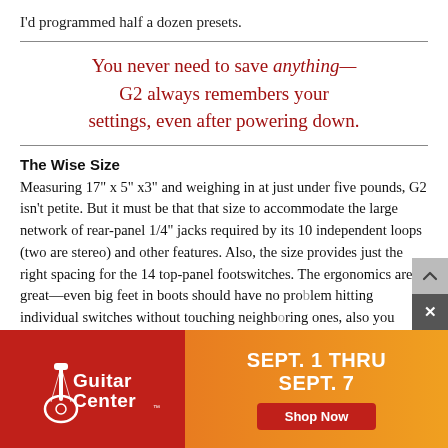I'd programmed half a dozen presets.
You never need to save anything—G2 always remembers your settings, even after powering down.
The Wise Size
Measuring 17" x 5" x3" and weighing in at just under five pounds, G2 isn't petite. But it must be that that size to accommodate the large network of rear-panel 1/4" jacks required by its 10 independent loops (two are stereo) and other features. Also, the size provides just the right spacing for the 14 top-panel footswitches. The ergonomics are great—even big feet in boots should have no pro[blem hitting individual switches without touching neighboring ones], [also] you co[uld chain] [smart] pedals.
[Figure (advertisement): Guitar Center ad banner: red left section with Guitar Center logo (guitar icon + text), orange-gradient right section with text 'SEPT. 1 THRU SEPT. 7' and 'Shop Now' red button]